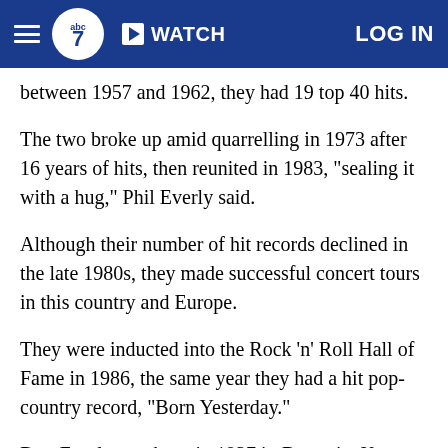abc7 WATCH LOG IN
between 1957 and 1962, they had 19 top 40 hits.
The two broke up amid quarrelling in 1973 after 16 years of hits, then reunited in 1983, "sealing it with a hug," Phil Everly said.
Although their number of hit records declined in the late 1980s, they made successful concert tours in this country and Europe.
They were inducted into the Rock 'n' Roll Hall of Fame in 1986, the same year they had a hit pop-country record, "Born Yesterday."
Don Everly was born in 1937 in Brownie, Ky., to Ike and Margaret Everly, who were folk and country music singers. Phil Everly was born to the couple on Jan. 19, 1939, in